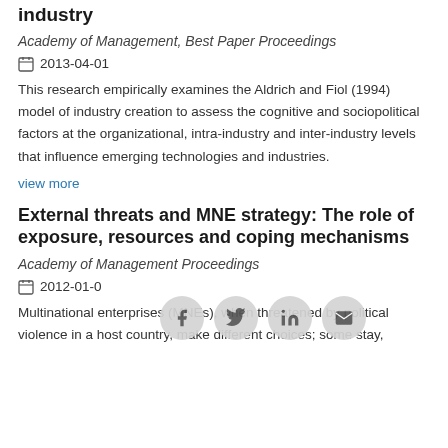industry
Academy of Management, Best Paper Proceedings
2013-04-01
This research empirically examines the Aldrich and Fiol (1994) model of industry creation to assess the cognitive and sociopolitical factors at the organizational, intra-industry and inter-industry levels that influence emerging technologies and industries.
view more
External threats and MNE strategy: The role of exposure, resources and coping mechanisms
Academy of Management Proceedings
2012-01-0
Multinational enterprises (MNEs), when threatened by political violence in a host country, make different choices; some stay,